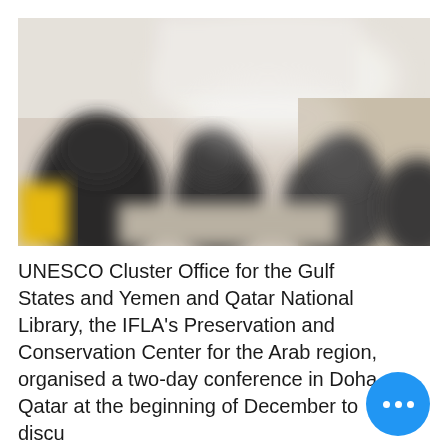[Figure (photo): A blurry indoor scene showing people in a conference or meeting room setting, with dark figures in the foreground and beige/white walls and furniture in the background. There is a yellow element on the lower left.]
UNESCO Cluster Office for the Gulf States and Yemen and Qatar National Library, the IFLA's Preservation and Conservation Center for the Arab region, organised a two-day conference in Doha, Qatar at the beginning of December to discuss the state of documentary heritage preservation and conservation in the